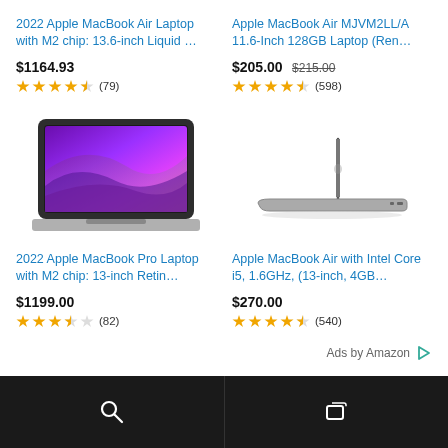2022 Apple MacBook Air Laptop with M2 chip: 13.6-inch Liquid …
$1164.93
★★★★½ (79)
Apple MacBook Air MJVM2LL/A 11.6-Inch 128GB Laptop (Ren…
$205.00  $215.00
★★★★½ (598)
[Figure (photo): MacBook Pro laptop open showing colorful purple/pink macOS Monterey wallpaper, viewed from slightly above at an angle]
[Figure (photo): MacBook Air laptop closed, viewed from the side showing its thin profile in silver/space gray]
2022 Apple MacBook Pro Laptop with M2 chip: 13-inch Retin…
$1199.00
★★★★☆ (82)
Apple MacBook Air with Intel Core i5, 1.6GHz, (13-inch, 4GB…
$270.00
★★★★½ (540)
Ads by Amazon ▷
[Search icon]  [Layers/tabs icon]